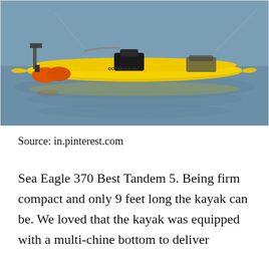[Figure (photo): A yellow Ocean Kayak with equipment including a motor mount, seat, and orange floats attached to the side, floating on calm water.]
Source: in.pinterest.com
Sea Eagle 370 Best Tandem 5. Being firm compact and only 9 feet long the kayak can be. We loved that the kayak was equipped with a multi-chine bottom to deliver